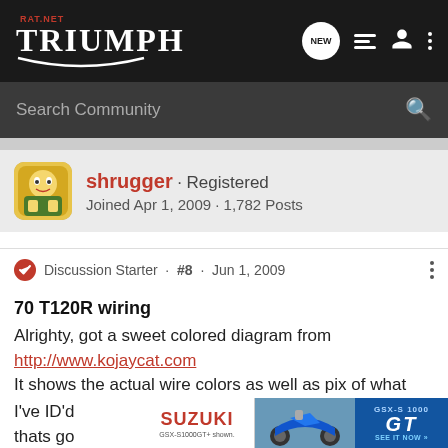TRIUMPH RAT.NET — header with logo and navigation icons
Search Community
shrugger · Registered
Joined Apr 1, 2009 · 1,782 Posts
Discussion Starter · #8 · Jun 1, 2009
70 T120R wiring
Alrighty, got a sweet colored diagram from
http://www.kojaycat.com
It shows the actual wire colors as well as pix of what they go to. Very easy and pretty cool. 🙂
I've ID'd ... thats go ...
[Figure (photo): Suzuki GSX-S1000GT advertisement banner showing motorcycle and GT logo]